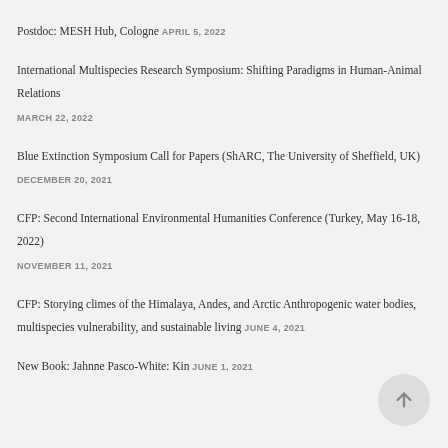Postdoc: MESH Hub, Cologne  APRIL 5, 2022
International Multispecies Research Symposium: Shifting Paradigms in Human-Animal Relations  MARCH 22, 2022
Blue Extinction Symposium Call for Papers (ShARC, The University of Sheffield, UK)  DECEMBER 20, 2021
CFP: Second International Environmental Humanities Conference (Turkey, May 16-18, 2022)  NOVEMBER 11, 2021
CFP: Storying climes of the Himalaya, Andes, and Arctic Anthropogenic water bodies, multispecies vulnerability, and sustainable living  JUNE 4, 2021
New Book: Jahnne Pasco-White: Kin  JUNE 1, 2021